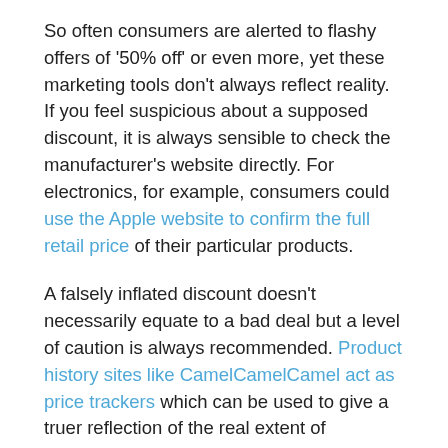So often consumers are alerted to flashy offers of '50% off' or even more, yet these marketing tools don't always reflect reality. If you feel suspicious about a supposed discount, it is always sensible to check the manufacturer's website directly. For electronics, for example, consumers could use the Apple website to confirm the full retail price of their particular products.
A falsely inflated discount doesn't necessarily equate to a bad deal but a level of caution is always recommended. Product history sites like CamelCamelCamel act as price trackers which can be used to give a truer reflection of the real extent of advertised discounts. These websites will provide a chart of a product's price history on Amazon and provide the user with an insight into the historic low-point in value of a product. A thorough approach to research will allow the buyer to make an informed decision about the real extent of any given discount.